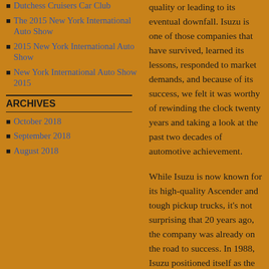Dutchess Cruisers Car Club
The 2015 New York International Auto Show
2015 New York International Auto Show
New York International Auto Show 2015
ARCHIVES
October 2018
September 2018
August 2018
quality or leading to its eventual downfall. Isuzu is one of those companies that have survived, learned its lessons, responded to market demands, and because of its success, we felt it was worthy of rewinding the clock twenty years and taking a look at the past two decades of automotive achievement.
While Isuzu is now known for its high-quality Ascender and tough pickup trucks, it's not surprising that 20 years ago, the company was already on the road to success. In 1988, Isuzu positioned itself as the number one truck maker (medium-duty and heavy-duty trucks) in the world, surpassing Daimler-Benz.